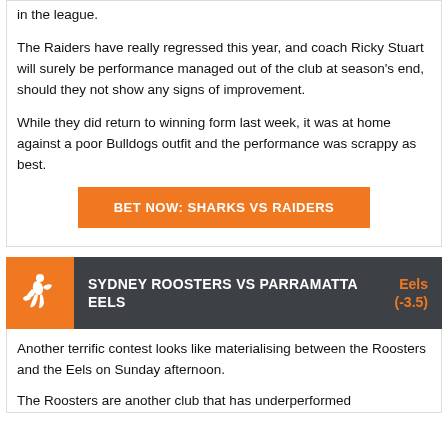in the league.
The Raiders have really regressed this year, and coach Ricky Stuart will surely be performance managed out of the club at season's end, should they not show any signs of improvement.
While they did return to winning form last week, it was at home against a poor Bulldogs outfit and the performance was scrappy as best.
BET NOW: SHARKS VS RAIDERS
SYDNEY ROOSTERS VS PARRAMATTA EELS
Eels (-3.5)
Another terrific contest looks like materialising between the Roosters and the Eels on Sunday afternoon.
The Roosters are another club that has underperformed